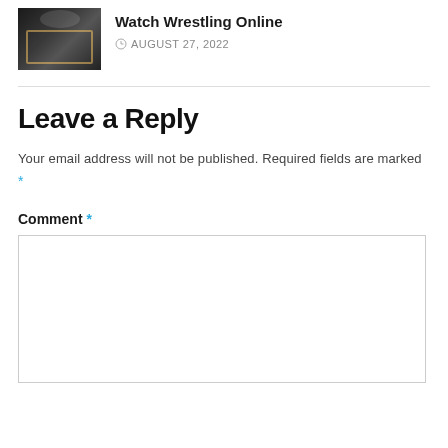[Figure (photo): Thumbnail image of a wrestling ring with arena lighting]
Watch Wrestling Online
AUGUST 27, 2022
Leave a Reply
Your email address will not be published. Required fields are marked *
Comment *